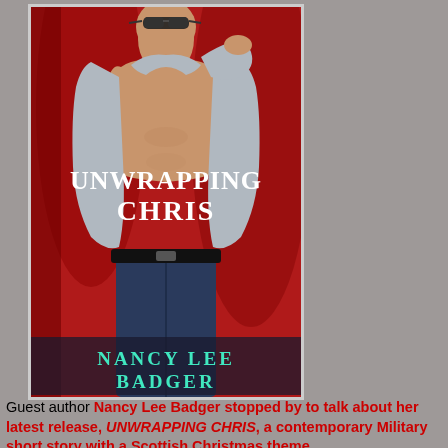[Figure (illustration): Book cover for 'Unwrapping Chris' by Nancy Lee Badger. Features a shirtless man with sunglasses pulling open a light blue shirt against a red background. Title 'UNWRAPPING CHRIS' in white bold text, author name 'NANCY LEE BADGER' in teal/cyan text at the bottom.]
Guest author Nancy Lee Badger stopped by to talk about her latest release, UNWRAPPING CHRIS,  a contemporary Military short story with a Scottish Christmas theme.